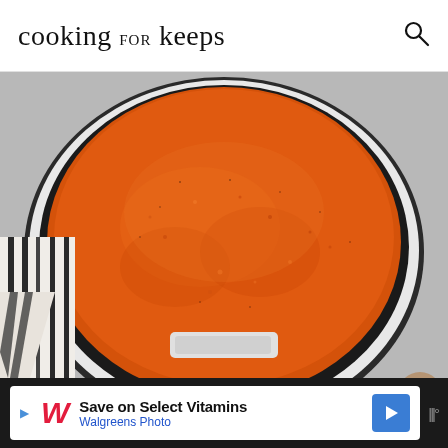cooking for keeps
[Figure (photo): Overhead close-up view of an orange-red tomato soup in a white enameled cast iron Dutch oven pot, with a black and white striped kitchen towel underneath, on a gray surface. Social sharing buttons (heart, count '2', share) visible on the right side.]
Save on Select Vitamins
Walgreens Photo